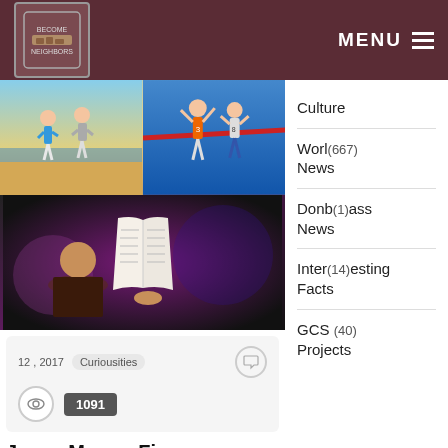BECOME NEIGHBORS | MENU
[Figure (photo): Two people jogging on a beach]
[Figure (photo): Athletes celebrating at finish line with red ribbon, numbers 3 and 8 on jerseys]
[Figure (photo): Woman holding up an open Bible on a purple-lit stage]
12 , 2017   Curiousities
1091
Joyce Meyer: Five reasons from Christians reason for
Culture
World (667) News
Donbass (1) News
Interesting (14) Facts
GCS (40) Projects